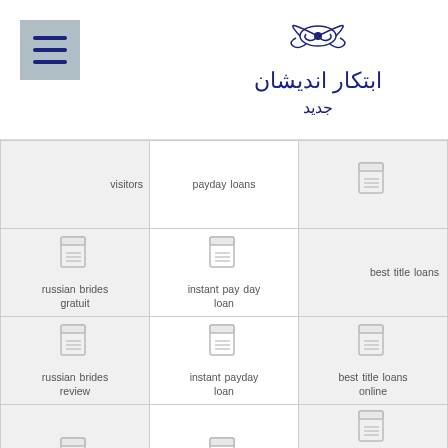[Figure (logo): Persian/Arabic script logo with decorative element at top]
| col1 | col2 | col3 |
| --- | --- | --- |
| visitors | payday loans | [icon] |
| [icon] russian brides gratuit | [icon] instant pay day loan | best title loans |
| [icon] russian brides review | [icon] instant payday loan | [icon] best title loans online |
| [icon] russian dating review | [icon] instant payday loans | [icon] best titleloan
[icon] esthookupwebsites review |
| [icon] russianbrides | [icon] | [icon] |